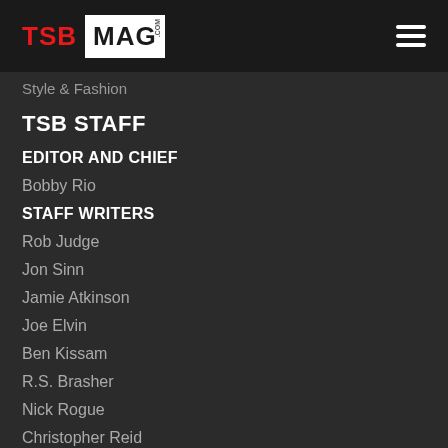TSB MAG .com
Style & Fashion
TSB STAFF
EDITOR AND CHIEF
Bobby Rio
STAFF WRITERS
Rob Judge
Jon Sinn
Jamie Atkinson
Joe Elvin
Ben Kissam
R.S. Brasher
Nick Rogue
Christopher Reid